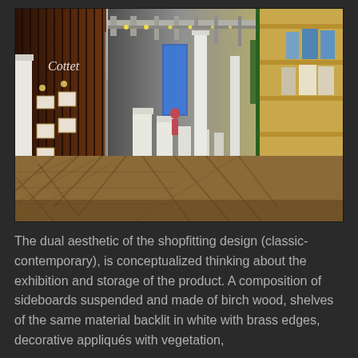[Figure (photo): Interior of a retail store (Cottet) showing a long corridor with herringbone parquet floor. Brown wood-slatted wall on the left with framed artworks and wall lamps. White pedestals in the center. Shelving units on the right with products and green plant accents. Exposed white structural columns and ceiling pipes. Modern-classic hybrid shopfitting design.]
The dual aesthetic of the shopfitting design (classic-contemporary), is conceptualized thinking about the exhibition and storage of the product. A composition of sideboards suspended and made of birch wood, shelves of the same material backlit in white with brass edges, decorative appliqués with vegetation,